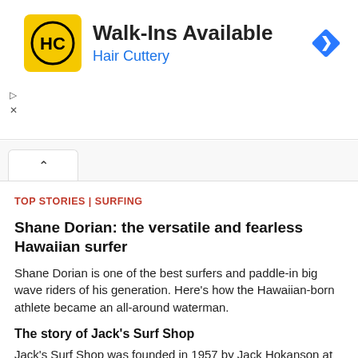[Figure (other): Hair Cuttery advertisement banner with HC logo (yellow square with black HC text), 'Walk-Ins Available' headline, 'Hair Cuttery' subtext in blue, and a blue diamond navigation icon on the right.]
▷
×
[Figure (other): Browser tab UI with an upward caret (^) inside a white pill tab on a light gray tab bar.]
TOP STORIES | SURFING
Shane Dorian: the versatile and fearless Hawaiian surfer
Shane Dorian is one of the best surfers and paddle-in big wave riders of his generation. Here's how the Hawaiian-born athlete became an all-around waterman.
The story of Jack's Surf Shop
Jack's Surf Shop was founded in 1957 by Jack Hokanson at the intersection of Main Street and Pacific Coast